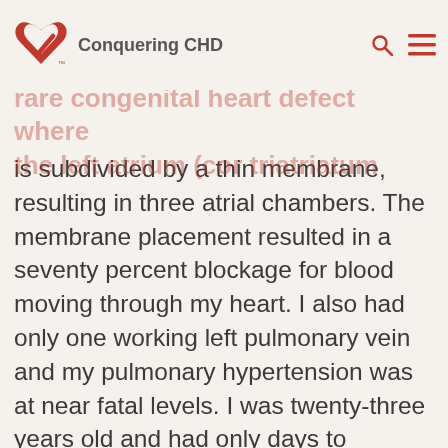Conquering CHD
returning home I was diagnosed with triatrial heart, a rare congenital heart defect where the left atrium (cor triatriatum sinistrum) is subdivided by a thin membrane, resulting in three atrial chambers. The membrane placement resulted in a seventy percent blockage for blood moving through my heart. I also had only one working left pulmonary vein and my pulmonary hypertension was at near fatal levels. I was twenty-three years old and had only days to process the fact that I was in heart failure and would need open heart surgery at the end of the week to hopefully save my life. The doctors were shocked and kept telling my family that they did not understand how I was still alive given the severity of my condition.